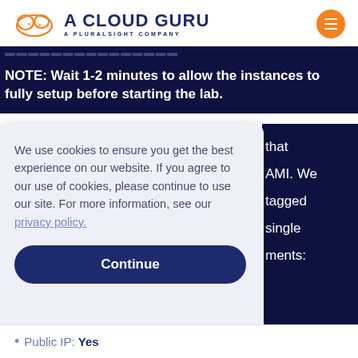[Figure (logo): A Cloud Guru logo with cloud icon and text 'A CLOUD GURU - A PLURALSIGHT COMPANY', orange hamburger menu button on right]
NOTE: Wait 1-2 minutes to allow the instances to fully setup before starting the lab.
We use cookies to ensure you get the best experience on our website. If you agree to our use of cookies, please continue to use our site. For more information, see our privacy policy.
Continue
Public IP: Yes